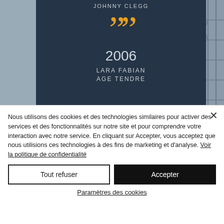[Figure (photo): Screenshot of a webpage showing a concert/festival image with a dark overlay card displaying 'JOHNNY CLEGG' at top, large orange quotation marks, '2006', 'LARA FABIAN', 'AGE TENDRE', with scaffolding/stage visible on the right side.]
Nous utilisons des cookies et des technologies similaires pour activer des services et des fonctionnalités sur notre site et pour comprendre votre interaction avec notre service. En cliquant sur Accepter, vous acceptez que nous utilisions ces technologies à des fins de marketing et d'analyse. Voir la politique de confidentialité
Tout refuser
Accepter
Paramètres des cookies